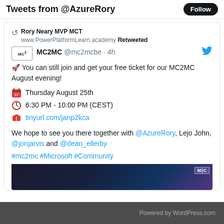Tweets from @AzureRory
Rory Neary MVP MCT www.PowerPlatformLearn.academy Retweeted
MC2MC @mc2mcbe · 4h
🚀 You can still join and get your free ticket for our MC2MC August evening!
📅 Thursday August 25th
⏰ 6:30 PM - 10:00 PM (CEST)
🎟 tinyurl.com/janp2kca
We hope to see you there together with @AzureRory, Lejo John, @jonjarvis and @dean_ellerby
#mc2mc #Microsoft #Community
[Figure (screenshot): Partial image preview at bottom of tweet card, dark background with figures]
Powered by WordPress.com.